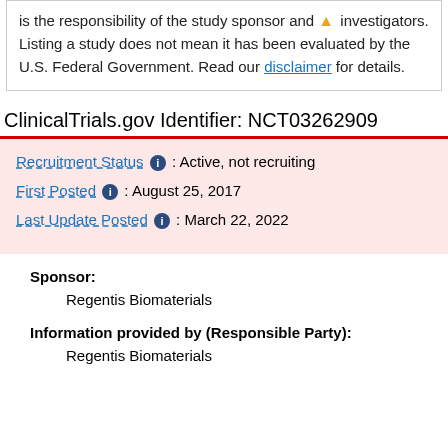is the responsibility of the study sponsor and investigators. Listing a study does not mean it has been evaluated by the U.S. Federal Government. Read our disclaimer for details.
ClinicalTrials.gov Identifier: NCT03262909
Recruitment Status : Active, not recruiting
First Posted : August 25, 2017
Last Update Posted : March 22, 2022
Sponsor:
Regentis Biomaterials
Information provided by (Responsible Party):
Regentis Biomaterials